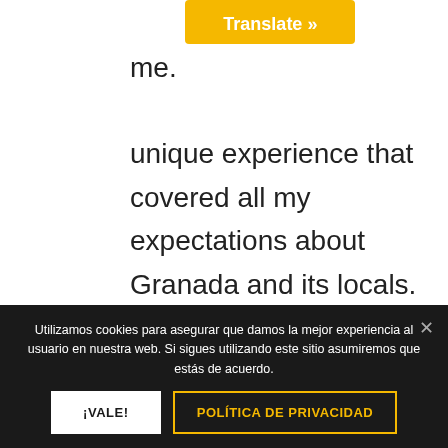unique experience that covered all my expectations about Granada and its locals. She also sent me really good pictures with her professional camera. Pretty much recommended!
Utilizamos cookies para asegurar que damos la mejor experiencia al usuario en nuestra web. Si sigues utilizando este sitio asumiremos que estás de acuerdo.
¡VALE!
POLÍTICA DE PRIVACIDAD